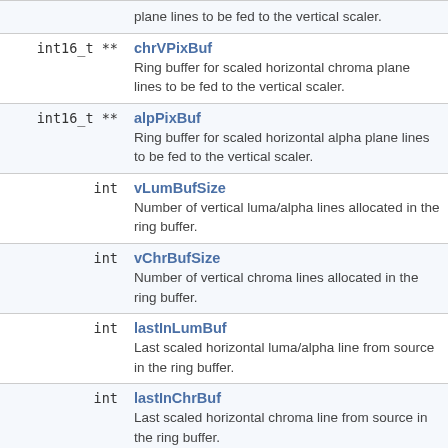| Type | Field | Description |
| --- | --- | --- |
|  |  | plane lines to be fed to the vertical scaler. |
| int16_t ** | chrVPixBuf | Ring buffer for scaled horizontal chroma plane lines to be fed to the vertical scaler. |
| int16_t ** | alpPixBuf | Ring buffer for scaled horizontal alpha plane lines to be fed to the vertical scaler. |
| int | vLumBufSize | Number of vertical luma/alpha lines allocated in the ring buffer. |
| int | vChrBufSize | Number of vertical chroma lines allocated in the ring buffer. |
| int | lastInLumBuf | Last scaled horizontal luma/alpha line from source in the ring buffer. |
| int | lastInChrBuf | Last scaled horizontal chroma line from source in the ring buffer. |
| int | lumBufIndex | Index in ring buffer of the last scaled |